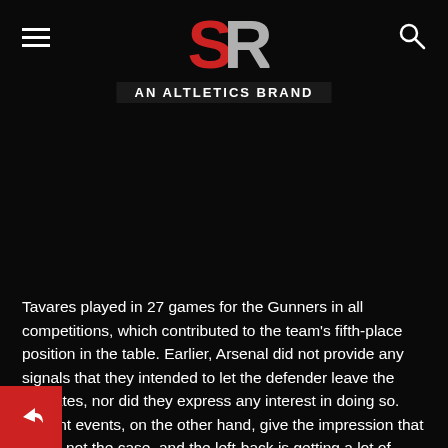SR — AN ALTLETICS BRAND
Tavares played in 27 games for the Gunners in all competitions, which contributed to the team's fifth-place position in the table. Earlier, Arsenal did not provide any signals that they intended to let the defender leave the Emirates, nor did they express any interest in doing so. Recent events, on the other hand, give the impression that this is not the case, and the left-back is getting a lot of interest from overseas.